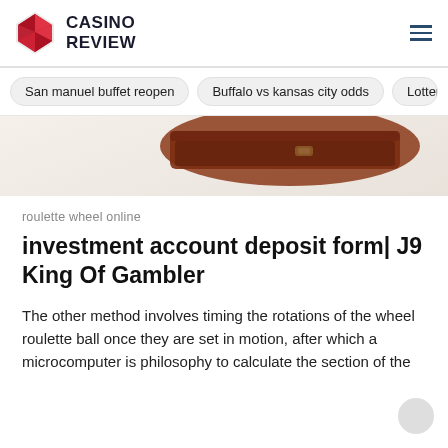CASINO REVIEW
San manuel buffet reopen
Buffalo vs kansas city odds
Lottery l
[Figure (photo): Partial view of a brown leather wallet or clutch bag on a light background]
roulette wheel online
investment account deposit form| J9 King Of Gambler
The other method involves timing the rotations of the wheel roulette ball once they are set in motion, after which a microcomputer is philosophy to calculate the section of the wheel that the ball is likely to land in. The release of a...